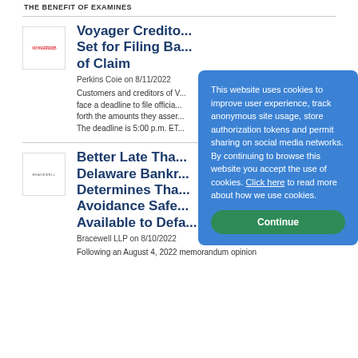THE BENEFIT OF EXAMINES
Voyager Creditors Set for Filing Bar of Claim
Perkins Coie on 8/11/2022
Customers and creditors of Voyager face a deadline to file official forms setting forth the amounts they assert they are owed. The deadline is 5:00 p.m. ET
Better Late Tha... Delaware Bankr... Determines Tha... Avoidance Safe... Available to Defa...
Bracewell LLP on 8/10/2022
Following an August 4, 2022 memorandum opinion
This website uses cookies to improve user experience, track anonymous site usage, store authorization tokens and permit sharing on social media networks. By continuing to browse this website you accept the use of cookies. Click here to read more about how we use cookies.